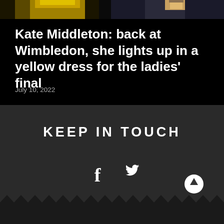[Figure (photo): Partial photo strip showing what appears to be a yellow dress at Wimbledon and a person holding a drink]
Kate Middleton: back at Wimbledon, she lights up in a yellow dress for the ladies' final
July 10, 2022
KEEP IN TOUCH
[Figure (infographic): Social media icons: Facebook (f) and Twitter (bird) icons in white on dark background, with a scroll-to-top button (circle with up arrow) in white]